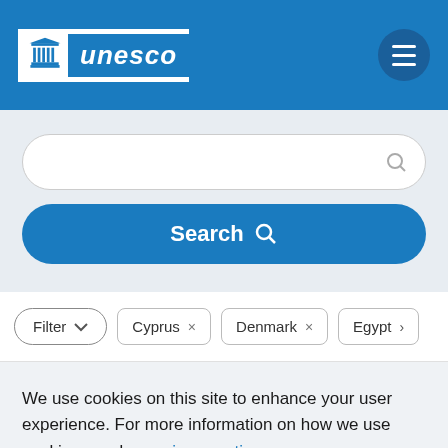[Figure (logo): UNESCO logo with temple icon and blue background text]
[Figure (screenshot): Search input field with gray search icon on right]
[Figure (screenshot): Blue Search button with magnifying glass icon]
[Figure (screenshot): Filter row with Filter button, Cyprus, Denmark, Egypt tags]
We use cookies on this site to enhance your user experience. For more information on how we use cookies, read our privacy notice.